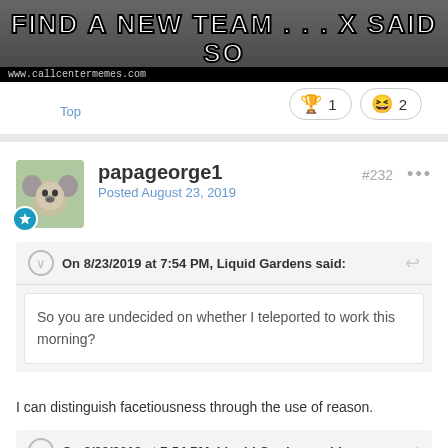[Figure (photo): Meme image with text 'FIND A NEW TEAM . . . X SAID SO' and watermark www.callcentermemes.com]
Top
🏆 1   😆 2
papageorge1
Posted August 23, 2019
#232
On 8/23/2019 at 7:54 PM, Liquid Gardens said:
So you are undecided on whether I teleported to work this morning?
I can distinguish facetiousness through the use of reason.
On 8/23/2019 at 7:54 PM, Liquid Gardens said: